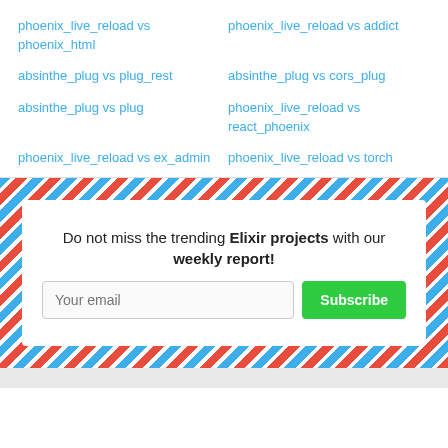phoenix_live_reload vs phoenix_html
phoenix_live_reload vs addict
absinthe_plug vs plug_rest
absinthe_plug vs cors_plug
absinthe_plug vs plug
phoenix_live_reload vs react_phoenix
phoenix_live_reload vs ex_admin
phoenix_live_reload vs torch
Do not miss the trending Elixir projects with our weekly report!